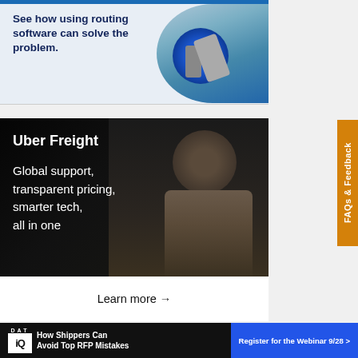[Figure (infographic): Top advertisement banner with blue bar at top, text 'See how using routing software can solve the problem.' on dark navy background, with image of a blue device/part on right side]
[Figure (infographic): Uber Freight advertisement with dark background showing woman in striped shirt holding a tablet, text 'Uber Freight' and 'Global support, transparent pricing, smarter tech, all in one', with white 'Learn more →' button at bottom]
[Figure (infographic): FAQs & Feedback orange vertical sidebar tab on right edge]
[Figure (infographic): DAT iQ bottom banner with black background left side showing logo and headline 'How Shippers Can Avoid Top RFP Mistakes' and blue button 'Register for the Webinar 9/28 >']